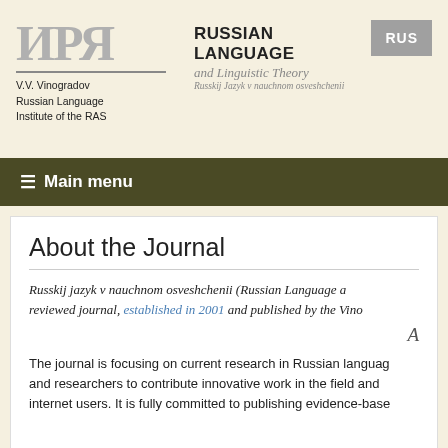[Figure (logo): ИРЯ Cyrillic logo in grey with horizontal underline rule]
V.V. Vinogradov
Russian Language
Institute of the RAS
RUSSIAN LANGUAGE
and Linguistic Theory
Russkij Jazyk v nauchnom osveshchenii
RUS
≡ Main menu
About the Journal
Russkij jazyk v nauchnom osveshchenii (Russian Language a... reviewed journal, established in 2001 and published by the Vino...
A
The journal is focusing on current research in Russian languag... and researchers to contribute innovative work in the field and... internet users. It is fully committed to publishing evidence-base...